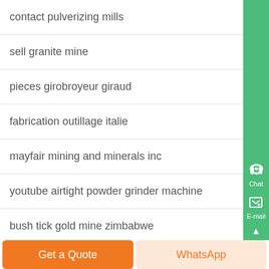contact pulverizing mills
sell granite mine
pieces girobroyeur giraud
fabrication outillage italie
mayfair mining and minerals inc
youtube airtight powder grinder machine
bush tick gold mine zimbabwe
[Figure (infographic): Green sidebar with Chat icon (headphones), E-mail icon (notepad/pen), and up arrow button]
[Figure (infographic): Bottom bar with orange 'Get a Quote' button and light orange 'WhatsApp' button]